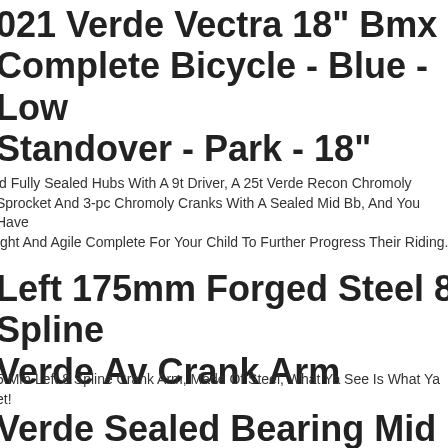2021 Verde Vectra 18" Bmx Complete Bicycle - Blue - Low Standover - Park - 18"
ld Fully Sealed Hubs With A 9t Driver, A 25t Verde Recon Chromoly Sprocket And 3-pc Chromoly Cranks With A Sealed Mid Bb, And You Have Aght And Agile Complete For Your Child To Further Progress Their Riding.
Left 175mm Forged Steel 8 Spline Verde Av Crank Arm
5 Mm Left 8 Spline Crank Arm, Made Of Steel, What Ya See Is What Ya Get!
Verde Sealed Bearing Mid Bottom Bracket Fits 19mm Spindles